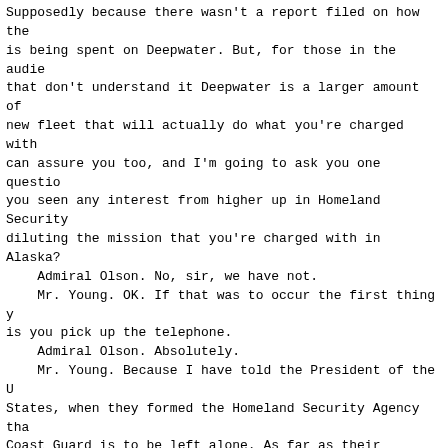Supposedly because there wasn't a report filed on how the money is being spent on Deepwater. But, for those in the audience that don't understand it Deepwater is a larger amount of a new fleet that will actually do what you're charged with. I can assure you too, and I'm going to ask you one question. Have you seen any interest from higher up in Homeland Security diluting the mission that you're charged with in Alaska?
    Admiral Olson. No, sir, we have not.
    Mr. Young. OK. If that was to occur the first thing you do is you pick up the telephone.
    Admiral Olson. Absolutely.
    Mr. Young. Because I have told the President of the United States, when they formed the Homeland Security Agency that the Coast Guard is to be left alone. As far as their mission that we've charged you with. Which is frankly navigation aids, search and rescue, fish interdiction, traffic interdiction, and the rest of it. As you know the mission in Alaska's probably the largest in the United States. And I don't want to see it diluted, or turned just for security purposes. Because there are other missions equally important. Have you seen any increase or is it been a decrease of foreign intrusion in the economic zone in the last year and a half or year?
    Admiral Olson. Congressman Young, Mr. Chairman we have seen a steady decline over the last several years in foreign incursion.
    Mr. Young. Are you working with Russia on this?
    Admiral Olson. Yes, sir.
    Mr. Young. Or how is this working?
    Admiral Olson. We work very closely with both the Russian and our Canadian partners. We have--I have personally hav